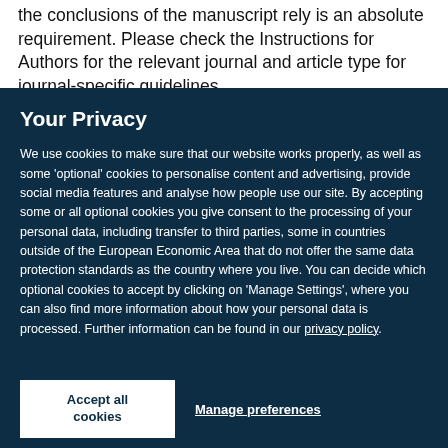the conclusions of the manuscript rely is an absolute requirement. Please check the Instructions for Authors for the relevant journal and article type for journal-specific guidelines.
Your Privacy
We use cookies to make sure that our website works properly, as well as some 'optional' cookies to personalise content and advertising, provide social media features and analyse how people use our site. By accepting some or all optional cookies you give consent to the processing of your personal data, including transfer to third parties, some in countries outside of the European Economic Area that do not offer the same data protection standards as the country where you live. You can decide which optional cookies to accept by clicking on 'Manage Settings', where you can also find more information about how your personal data is processed. Further information can be found in our privacy policy.
Accept all cookies
Manage preferences